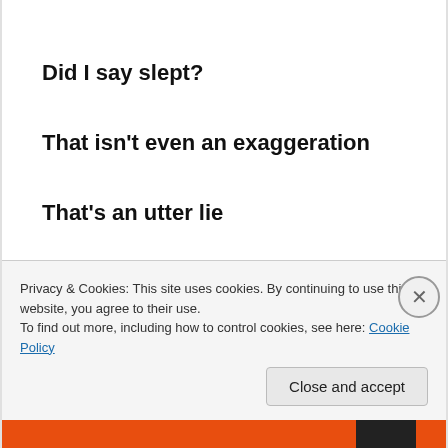Did I say slept?
That isn't even an exaggeration
That's an utter lie
The room, the cot, the night, the sounds
The earth itself
Privacy & Cookies: This site uses cookies. By continuing to use this website, you agree to their use.
To find out more, including how to control cookies, see here: Cookie Policy
Close and accept